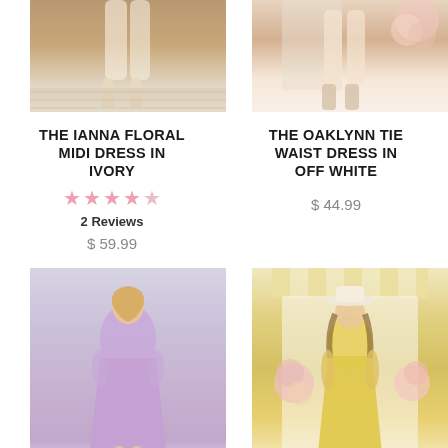[Figure (photo): Bottom half of model in floral midi dress, ivory color, wearing heeled sandals on light wooden floor]
[Figure (photo): Bottom half of model in tie waist dress off white, wearing heeled sandals with floral arrangement in background]
THE IANNA FLORAL MIDI DRESS IN IVORY
★★★★☆ 2 Reviews
$ 59.99
THE OAKLYNN TIE WAIST DRESS IN OFF WHITE
$ 44.99
[Figure (photo): Model wearing a lavender short sleeve midi dress, standing on light gray background]
[Figure (photo): Model wearing yellow patterned dress with wide-brim hat, standing in front of striped awning with floral wreath]